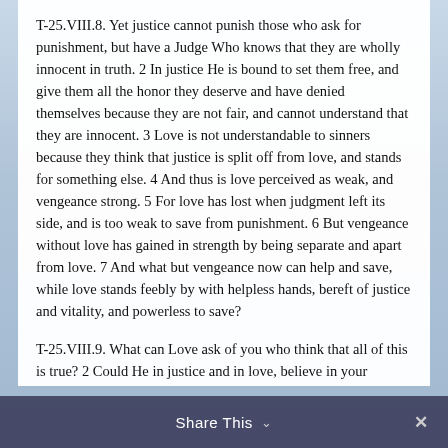T-25.VIII.8. Yet justice cannot punish those who ask for punishment, but have a Judge Who knows that they are wholly innocent in truth. 2 In justice He is bound to set them free, and give them all the honor they deserve and have denied themselves because they are not fair, and cannot understand that they are innocent. 3 Love is not understandable to sinners because they think that justice is split off from love, and stands for something else. 4 And thus is love perceived as weak, and vengeance strong. 5 For love has lost when judgment left its side, and is too weak to save from punishment. 6 But vengeance without love has gained in strength by being separate and apart from love. 7 And what but vengeance now can help and save, while love stands feebly by with helpless hands, bereft of justice and vitality, and powerless to save?
T-25.VIII.9. What can Love ask of you who think that all of this is true? 2 Could He in justice and in love, believe in your confusion you have much to give? 3 You are not
Share This